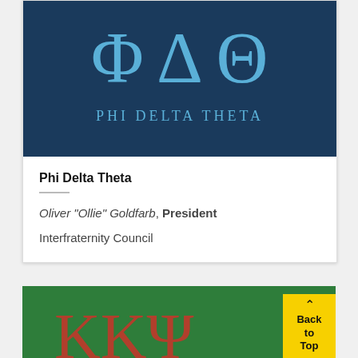[Figure (logo): Phi Delta Theta fraternity logo with Greek letters Phi Delta Theta in light blue on dark navy background, with text PHI DELTA THETA below]
Phi Delta Theta
Oliver "Ollie" Goldfarb, President
Interfraternity Council
[Figure (photo): Partially visible green banner of another fraternity with red letters at bottom]
^ Back to Top